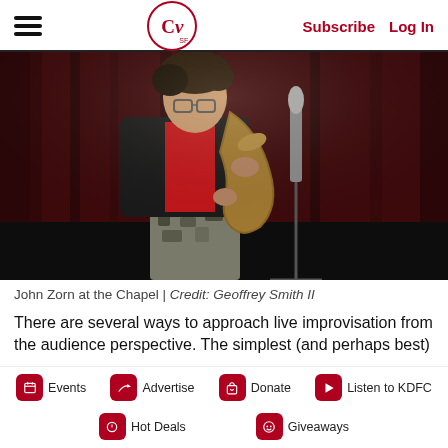CV SF | Subscribe | Log In
[Figure (photo): John Zorn playing saxophone on stage in front of a dark red curtain, wearing a red shirt and black jacket with camouflage pants, performing at a microphone stand]
John Zorn at the Chapel | Credit: Geoffrey Smith II
There are several ways to approach live improvisation from the audience perspective. The simplest (and perhaps best)
Events | Advertise | Donate | Listen to KDFC | Hot Deals | Giveaways